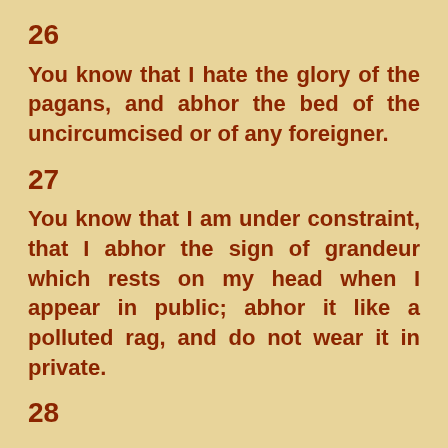26
You know that I hate the glory of the pagans, and abhor the bed of the uncircumcised or of any foreigner.
27
You know that I am under constraint, that I abhor the sign of grandeur which rests on my head when I appear in public; abhor it like a polluted rag, and do not wear it in private.
28